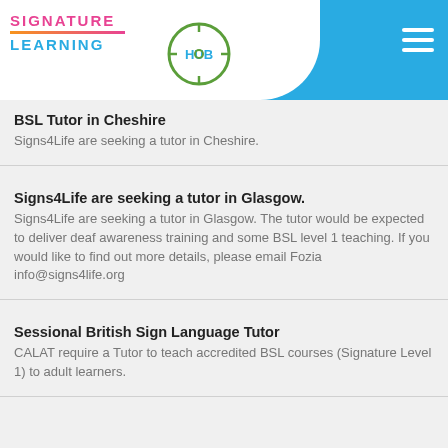Signature Learning Hub
BSL Tutor in Cheshire
Signs4Life are seeking a tutor in Cheshire.
Signs4Life are seeking a tutor in Glasgow.
Signs4Life are seeking a tutor in Glasgow. The tutor would be expected to deliver deaf awareness training and some BSL level 1 teaching. If you would like to find out more details, please email Fozia info@signs4life.org
Sessional British Sign Language Tutor
CALAT require a Tutor to teach accredited BSL courses (Signature Level 1) to adult learners.